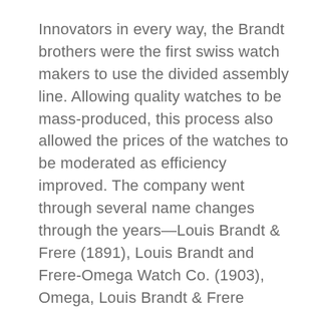Innovators in every way, the Brandt brothers were the first swiss watch makers to use the divided assembly line. Allowing quality watches to be mass-produced, this process also allowed the prices of the watches to be moderated as efficiency improved. The company went through several name changes through the years—Louis Brandt & Frere (1891), Louis Brandt and Frere-Omega Watch Co. (1903), Omega, Louis Brandt & Frere (1947), and Omega Ltd in 1982. Through all of this time and through all of the name changes, the pride in quality of workmanship remained in the Omega watch.
While accessible to the general public, the Omega watch has an outstanding history. Omega first mass-produced the pocket watch in 1894. By 1902 Omega introduced the first wrist watch. Omega has been the proud official timer of no less than 21